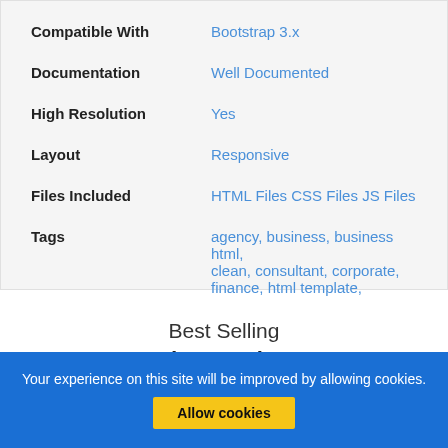| Property | Value |
| --- | --- |
| Compatible With | Bootstrap 3.x |
| Documentation | Well Documented |
| High Resolution | Yes |
| Layout | Responsive |
| Files Included | HTML Files CSS Files JS Files |
| Tags | agency, business, business html, clean, consultant, corporate, finance, html template, minimal, multipage, multipurpose, startup, unique, |
Best Selling
WordPress Themes
Your experience on this site will be improved by allowing cookies.